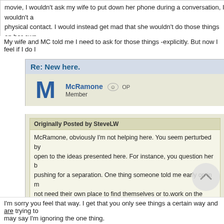movie, I wouldn't ask my wife to put down her phone during a conversation, I wouldn't ask for physical contact. I would instead get mad that she wouldn't do those things on her own.
My wife and MC told me I need to ask for those things -explicitly. But now I feel if I do I
Re: New here.
McRamone   OP
Member
Originally Posted by SteveLW
McRamone, obviously I'm not helping here. You seem perturbed by open to the ideas presented here. For instance, you question her b pushing for a separation. One thing someone told me early on in m not need their own place to find themselves or to.work on the marri other men.

Good luck. I sincerely hope it all works out for you. That's why I po being a bit obtuse. Maybe it is because the truth is too hard to face
I'm sorry you feel that way. I get that you only see things a certain way and are trying to may say I'm ignoring the one thing.